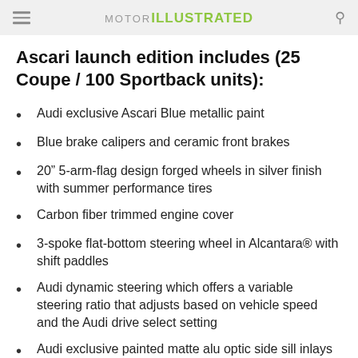MOTOR ILLUSTRATED
Ascari launch edition includes (25 Coupe / 100 Sportback units):
Audi exclusive Ascari Blue metallic paint
Blue brake calipers and ceramic front brakes
20” 5-arm-flag design forged wheels in silver finish with summer performance tires
Carbon fiber trimmed engine cover
3-spoke flat-bottom steering wheel in Alcantara® with shift paddles
Audi dynamic steering which offers a variable steering ratio that adjusts based on vehicle speed and the Audi drive select setting
Audi exclusive painted matte alu optic side sill inlays